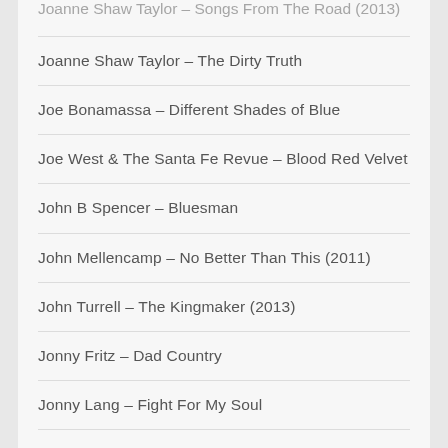Joanne Shaw Taylor – Songs From The Road (2013)
Joanne Shaw Taylor – The Dirty Truth
Joe Bonamassa – Different Shades of Blue
Joe West & The Santa Fe Revue – Blood Red Velvet
John B Spencer – Bluesman
John Mellencamp – No Better Than This (2011)
John Turrell – The Kingmaker (2013)
Jonny Fritz – Dad Country
Jonny Lang – Fight For My Soul
JT and the Clouds – Caledonia (2011)